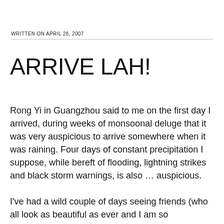WRITTEN ON APRIL 28, 2007
ARRIVE LAH!
Rong Yi in Guangzhou said to me on the first day I arrived, during weeks of monsoonal deluge that it was very auspicious to arrive somewhere when it was raining. Four days of constant precipitation I suppose, while bereft of flooding, lightning strikes and black storm warnings, is also … auspicious.
I've had a wild couple of days seeing friends (who all look as beautiful as ever and I am so